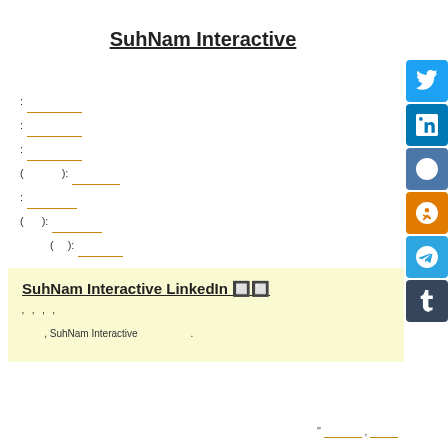SuhNam Interactive
: ___ : ___ : ___ ( ): ___ : ___ ( ): ___ ( ): ___
SuhNam Interactive LinkedIn 🔲🔲
' ' ' ' , SuhNam Interactive .
'' ___ , ___